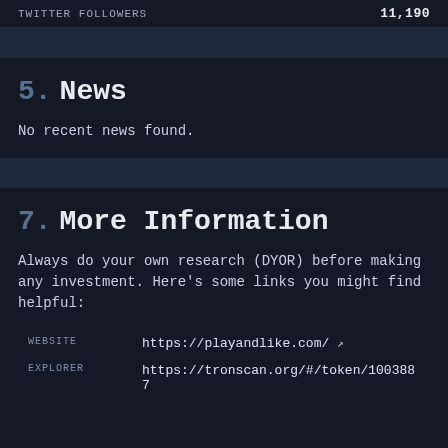TWITTER FOLLOWERS   11,190
5. News
No recent news found.
7. More Information
Always do your own research (DYOR) before making any investment. Here's some links you might find helpful:
|  |  |
| --- | --- |
| WEBSITE | https://playandlike.com/ ↗ |
| EXPLORER | https://tronscan.org/#/token/1003887 |